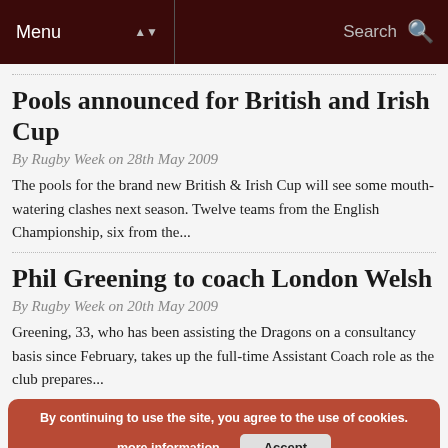Menu  Search
Pools announced for British and Irish Cup
By Rugby Week on 28th May 2009
The pools for the brand new British & Irish Cup will see some mouth-watering clashes next season. Twelve teams from the English Championship, six from the...
Phil Greening to coach London Welsh
By Rugby Week on 20th May 2009
Greening, 33, who has been assisting the Dragons on a consultancy basis since February, takes up the full-time Assistant Coach role as the club prepares...
By continuing to use the site, you agree to the use of cookies. more information  Accept
Home Unions launch British & Irish Cup